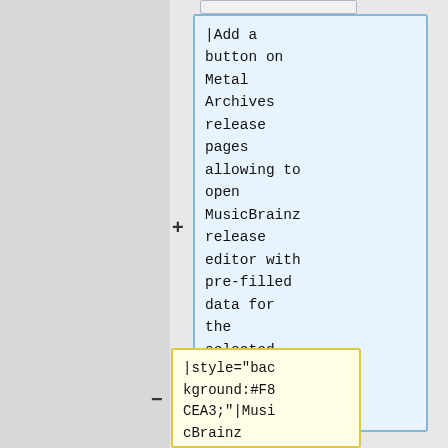|Add a button on Metal Archives release pages allowing to open MusicBrainz release editor with pre-filled data for the selected release.
|style="background:#F8CEA3;"|MusicBrainz